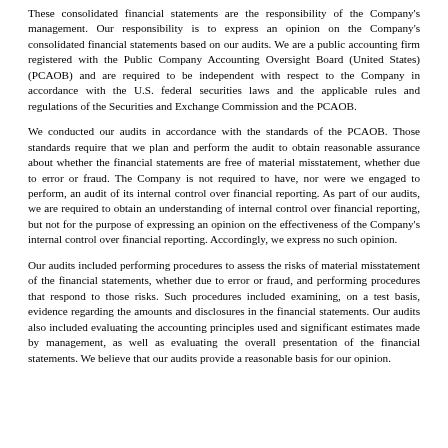These consolidated financial statements are the responsibility of the Company's management. Our responsibility is to express an opinion on the Company's consolidated financial statements based on our audits. We are a public accounting firm registered with the Public Company Accounting Oversight Board (United States) (PCAOB) and are required to be independent with respect to the Company in accordance with the U.S. federal securities laws and the applicable rules and regulations of the Securities and Exchange Commission and the PCAOB.
We conducted our audits in accordance with the standards of the PCAOB. Those standards require that we plan and perform the audit to obtain reasonable assurance about whether the financial statements are free of material misstatement, whether due to error or fraud. The Company is not required to have, nor were we engaged to perform, an audit of its internal control over financial reporting. As part of our audits, we are required to obtain an understanding of internal control over financial reporting, but not for the purpose of expressing an opinion on the effectiveness of the Company's internal control over financial reporting. Accordingly, we express no such opinion.
Our audits included performing procedures to assess the risks of material misstatement of the financial statements, whether due to error or fraud, and performing procedures that respond to those risks. Such procedures included examining, on a test basis, evidence regarding the amounts and disclosures in the financial statements. Our audits also included evaluating the accounting principles used and significant estimates made by management, as well as evaluating the overall presentation of the financial statements. We believe that our audits provide a reasonable basis for our opinion.